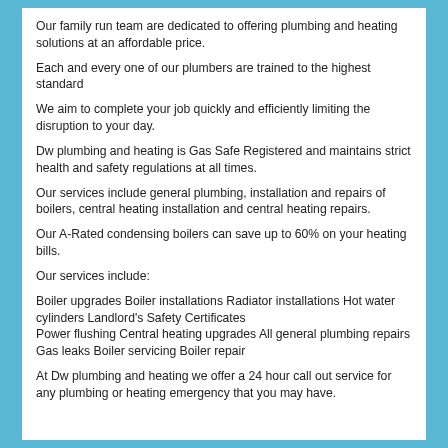Our family run team are dedicated to offering plumbing and heating solutions at an affordable price.
Each and every one of our plumbers are trained to the highest standard
We aim to complete your job quickly and efficiently limiting the disruption to your day.
Dw plumbing and heating is Gas Safe Registered and maintains strict health and safety regulations at all times.
Our services include general plumbing, installation and repairs of boilers, central heating installation and central heating repairs.
Our A-Rated condensing boilers can save up to 60% on your heating bills.
Our services include:
Boiler upgrades Boiler installations Radiator installations Hot water cylinders Landlord's Safety Certificates
Power flushing Central heating upgrades All general plumbing repairs Gas leaks Boiler servicing Boiler repair
At Dw plumbing and heating we offer a 24 hour call out service for any plumbing or heating emergency that you may have.